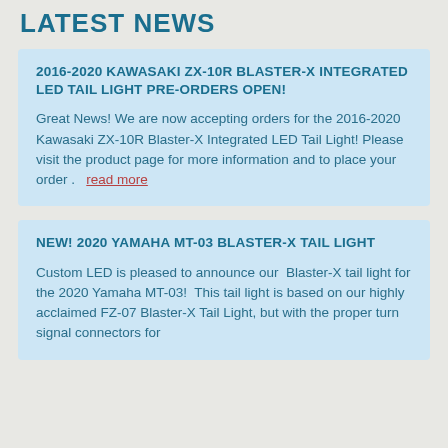LATEST NEWS
2016-2020 KAWASAKI ZX-10R BLASTER-X INTEGRATED LED TAIL LIGHT PRE-ORDERS OPEN!
Great News! We are now accepting orders for the 2016-2020 Kawasaki ZX-10R Blaster-X Integrated LED Tail Light! Please visit the product page for more information and to place your order .   read more
NEW! 2020 YAMAHA MT-03 BLASTER-X TAIL LIGHT
Custom LED is pleased to announce our  Blaster-X tail light for the 2020 Yamaha MT-03!  This tail light is based on our highly acclaimed FZ-07 Blaster-X Tail Light, but with the proper turn signal connectors for